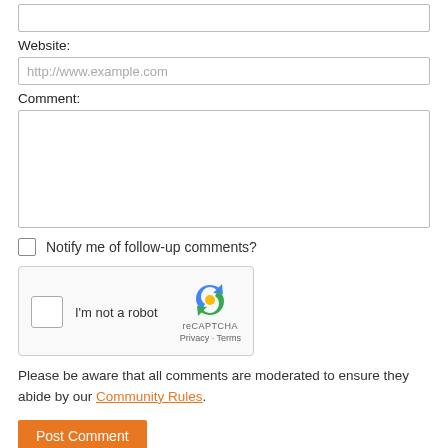[Figure (screenshot): Empty text input box at the top of the form]
Website:
[Figure (screenshot): Website input field with placeholder text: http://www.example.com]
Comment:
[Figure (screenshot): Large comment textarea input box, resizable]
Notify me of follow-up comments?
[Figure (screenshot): reCAPTCHA widget with checkbox labeled I'm not a robot, reCAPTCHA logo, Privacy and Terms links]
Please be aware that all comments are moderated to ensure they abide by our Community Rules.
[Figure (screenshot): Post Comment orange button]